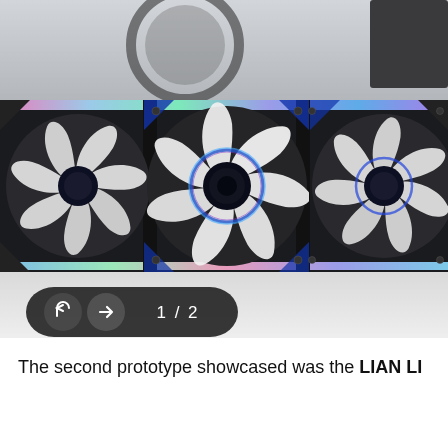[Figure (photo): Three RGB PC case fans with black frames, white fan blades, and colorful RGB lighting (blue, pink, green) arranged side by side. The fans are displayed on a white surface against a grey background. A dark element is visible in the top right corner. A navigation pill UI overlay at the bottom shows share icon, forward arrow, and page indicator '1 / 2'.]
The second prototype showcased was the LIAN LI